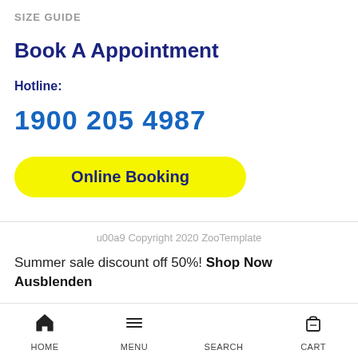SIZE GUIDE
Book A Appointment
Hotline:
1900 205 4987
Online Booking
u00a9 Copyright 2020 ZooTemplate
Summer sale discount off 50%! Shop Now Ausblenden
HOME   MENU   SEARCH   CART